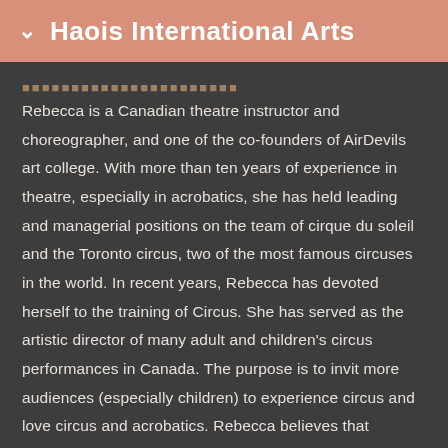Haois International Arts
Rebecca is a Canadian theatre instructor and choreographer, and one of the co-founders of AirDevils art college. With more than ten years of experience in theatre, especially in acrobatics, she has held leading and managerial positions on the team of cirque du soleil and the Toronto circus, two of the most famous circuses in the world. In recent years, Rebecca has devoted herself to the training of Circus. She has served as the artistic director of many adult and children's circus performances in Canada. The purpose is to invit more audiences (especially children) to experience circus and love circus and acrobatics. Rebecca believes that through learning